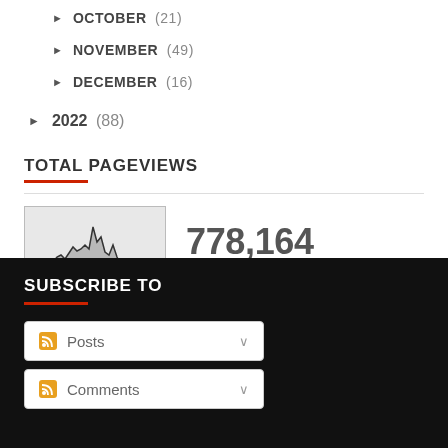▶ OCTOBER (21)
▶ NOVEMBER (49)
▶ DECEMBER (16)
▶ 2022 (88)
TOTAL PAGEVIEWS
[Figure (continuous-plot): Small sparkline/area chart showing pageview history with irregular peaks, rendered on light grey background]
778,164
SUBSCRIBE TO
Posts
Comments